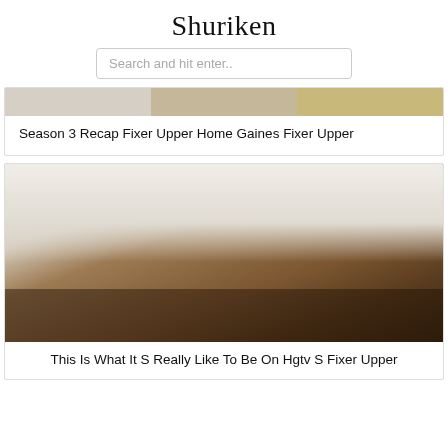Shuriken
Search and hit enter..
[Figure (photo): Top strip of interior home photo(s), partially visible]
Season 3 Recap Fixer Upper Home Gaines Fixer Upper
[Figure (photo): Dining room with a large rustic wooden farmhouse table, black metal chairs, framed botanical prints on the white wall, a small plant in a glass vase on the table, and a wooden chair in the background next to a white cabinet]
This Is What It S Really Like To Be On Hgtv S Fixer Upper